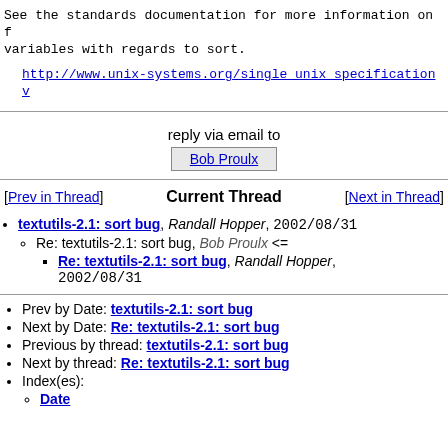See the standards documentation for more information on f variables with regards to sort.
http://www.unix-systems.org/single unix specification v
reply via email to
Bob Proulx
[Prev in Thread]   Current Thread   [Next in Thread]
textutils-2.1: sort bug, Randall Hopper, 2002/08/31
Re: textutils-2.1: sort bug, Bob Proulx <=
Re: textutils-2.1: sort bug, Randall Hopper, 2002/08/31
Prev by Date: textutils-2.1: sort bug
Next by Date: Re: textutils-2.1: sort bug
Previous by thread: textutils-2.1: sort bug
Next by thread: Re: textutils-2.1: sort bug
Index(es):
Date